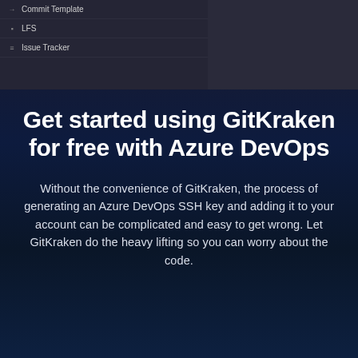[Figure (screenshot): Dark-themed UI panel showing menu items: Commit Template, LFS, Issue Tracker]
Get started using GitKraken for free with Azure DevOps
Without the convenience of GitKraken, the process of generating an Azure DevOps SSH key and adding it to your account can be complicated and easy to get wrong. Let GitKraken do the heavy lifting so you can worry about the code.